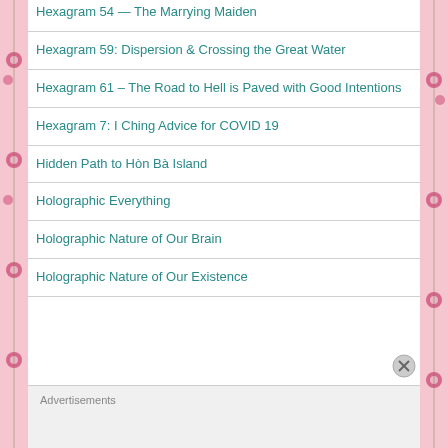Hexagram 54 — The Marrying Maiden
Hexagram 59: Dispersion & Crossing the Great Water
Hexagram 61 – The Road to Hell is Paved with Good Intentions
Hexagram 7: I Ching Advice for COVID 19
Hidden Path to Hòn Bà Island
Holographic Everything
Holographic Nature of Our Brain
Holographic Nature of Our Existence
Advertisements